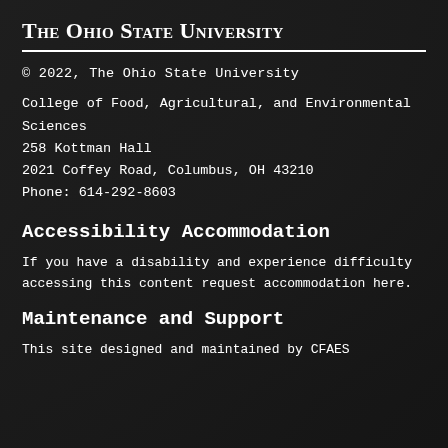The Ohio State University
© 2022, The Ohio State University
College of Food, Agricultural, and Environmental Sciences
258 Kottman Hall
2021 Coffey Road, Columbus, OH 43210
Phone: 614-292-8603
Accessibility Accommodation
If you have a disability and experience difficulty accessing this content request accommodation here.
Maintenance and Support
This site designed and maintained by CFAES